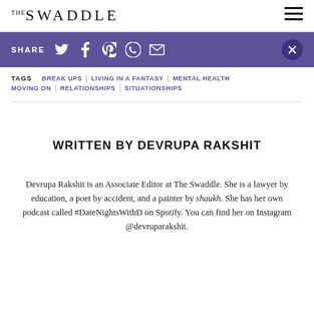THE SWADDLE
SHARE
TAGS  BREAK UPS  LIVING IN A FANTASY  MENTAL HEALTH  MOVING ON  RELATIONSHIPS  SITUATIONSHIPS
WRITTEN BY DEVRUPA RAKSHIT
Devrupa Rakshit is an Associate Editor at The Swaddle. She is a lawyer by education, a poet by accident, and a painter by shaukh. She has her own podcast called #DateNightsWithD on Spotify. You can find her on Instagram @devruparakshit.